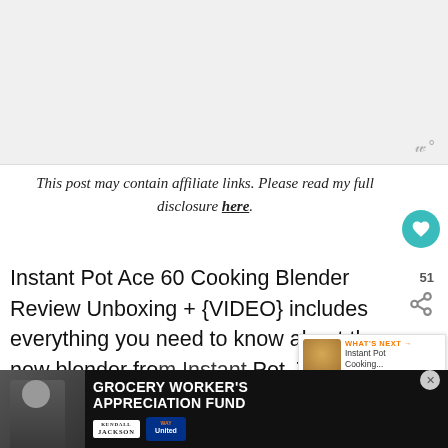[Figure (photo): Large placeholder image area at the top of the page, light gray background with a small watermark logo in the bottom-right corner]
This post may contain affiliate links. Please read my full disclosure here.
Instant Pot Ace 60 Cooking Blender Review Unboxing + {VIDEO} includes everything you need to know about the new blender from Instant Pot. The blender can be used to make smoothies, warm and cold soups, crushed ice, ice cream and more... plus and
[Figure (infographic): What's Next panel showing a small food image thumbnail with text 'WHAT'S NEXT → Instant Pot Cooking...']
[Figure (infographic): Advertisement banner for Grocery Worker's Appreciation Fund featuring a person in chef attire, Kendall Jackson and United Way logos, with a close button]